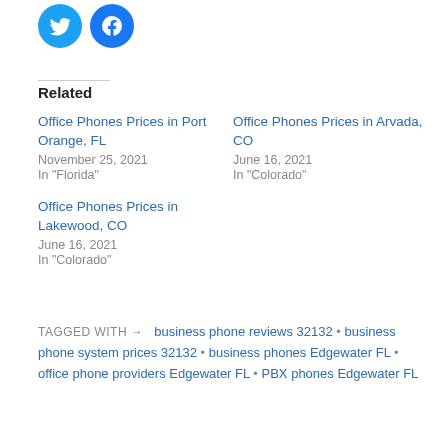[Figure (illustration): Twitter and Facebook social share icon circles in blue]
Related
Office Phones Prices in Port Orange, FL
November 25, 2021
In "Florida"
Office Phones Prices in Arvada, CO
June 16, 2021
In "Colorado"
Office Phones Prices in Lakewood, CO
June 16, 2021
In "Colorado"
TAGGED WITH → business phone reviews 32132 • business phone system prices 32132 • business phones Edgewater FL • office phone providers Edgewater FL • PBX phones Edgewater FL